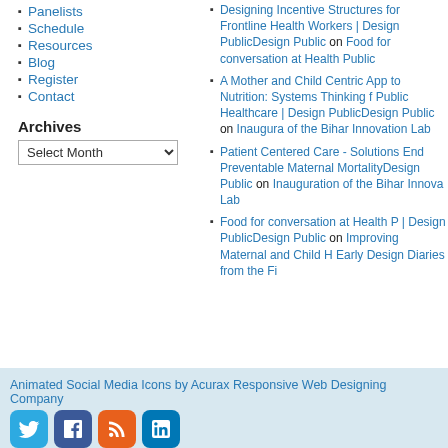Panelists
Schedule
Resources
Blog
Register
Contact
Archives
Designing Incentive Structures for Frontline Health Workers | Design PublicDesign Public on Food for conversation at Health Public
A Mother and Child Centric Approach to Nutrition: Systems Thinking for Public Healthcare | Design PublicDesign Public on Inauguration of the Bihar Innovation Lab
Patient Centered Care - Solutions to End Preventable Maternal MortalityDesign Public on Inauguration of the Bihar Innovation Lab
Food for conversation at Health Public | Design PublicDesign Public on Improving Maternal and Child Health: Early Design Diaries from the Field
Design Public
Animated Social Media Icons by Acurax Responsive Web Designing Company